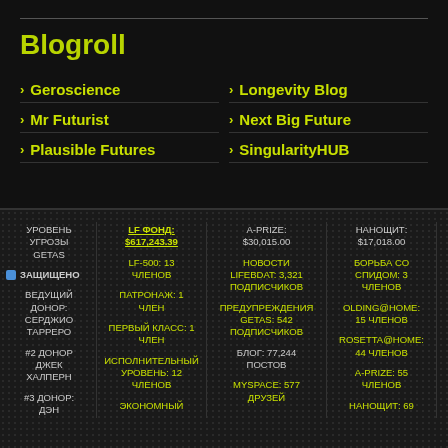Blogroll
Geroscience
Longevity Blog
Mr Futurist
Next Big Future
Plausible Futures
SingularityHUB
| COL1 | COL2 | COL3 | COL4 | COL5 |
| --- | --- | --- | --- | --- |
| УРОВЕНЬ УГРОЗЫ GETAS | LF ФОНД: $617,243.39 | A-PRIZE: $30,015.00 | НАНОЩИТ: $17,018.00 | ИИ-ЩИТ: $4,125.00 |
| ЗАЩИЩЕНО | LF-500: 13 ЧЛЕНОВ | НОВОСТИ LIFEBDAT: 3,321 ПОДПИСЧИКОВ | БОРЬБА СО СПИДОМ: 3 ЧЛЕНОВ | SAB: 2,854 ЧЛЕНОВ |
| ВЕДУЩИЙ ДОНОР: СЕРДЖИО ТАРРЕРО | ПАТРОНАЖ: 1 ЧЛЕН | ПРЕДУПРЕЖДЕНИЯ GETAS: 542 ПОДПИСЧИКОВ | OLDING@HOME: 15 ЧЛЕНОВ | ОТЧЁТЫ: 74 |
| #2 ДОНОР ДЖЕК ХАЛПЕРН | ПЕРВЫЙ КЛАСС: 1 ЧЛЕН | БЛОГ: 77,244 ПОСТОВ | ROSETTA@HOME: 44 ЧЛЕНОВ | ПРОГРАММ 25 |
| #3 ДОНОР: ДЭН | ИСПОЛНИТЕЛЬНЫЙ УРОВЕНЬ: 12 ЧЛЕНОВ | MYSPACE: 577 ДРУЗЕЙ | A-PRIZE: 55 ЧЛЕНОВ | ФОРУМЫ: 25 |
|  | ЭКОНОМНЫЙ |  | НАНОЩИТ: 69 | ЧИТАТЬ |